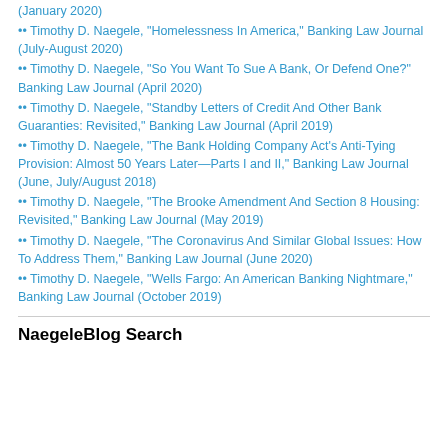(January 2020)
•• Timothy D. Naegele, "Homelessness In America," Banking Law Journal (July-August 2020)
•• Timothy D. Naegele, "So You Want To Sue A Bank, Or Defend One?" Banking Law Journal (April 2020)
•• Timothy D. Naegele, "Standby Letters of Credit And Other Bank Guaranties: Revisited," Banking Law Journal (April 2019)
•• Timothy D. Naegele, "The Bank Holding Company Act's Anti-Tying Provision: Almost 50 Years Later—Parts I and II," Banking Law Journal (June, July/August 2018)
•• Timothy D. Naegele, "The Brooke Amendment And Section 8 Housing: Revisited," Banking Law Journal (May 2019)
•• Timothy D. Naegele, "The Coronavirus And Similar Global Issues: How To Address Them," Banking Law Journal (June 2020)
•• Timothy D. Naegele, "Wells Fargo: An American Banking Nightmare," Banking Law Journal (October 2019)
NaegeleBlog Search